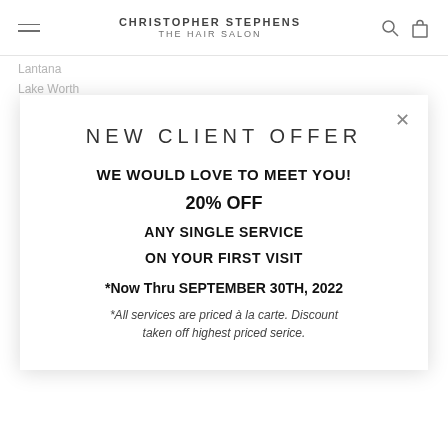CHRISTOPHER STEPHENS THE HAIR SALON
Lantana
Lake Worth
NEW CLIENT OFFER
WE WOULD LOVE TO MEET YOU!
20% OFF
ANY SINGLE SERVICE
ON YOUR FIRST VISIT
*Now Thru SEPTEMBER 30TH, 2022
*All services are priced à la carte. Discount taken off highest priced serice.